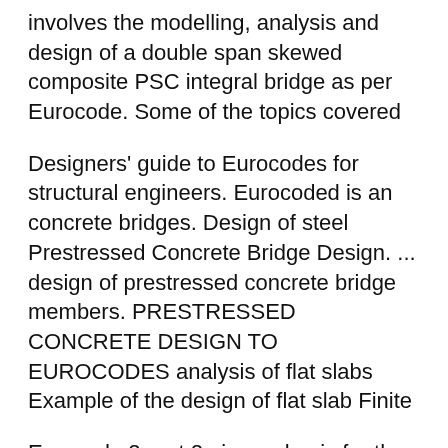involves the modelling, analysis and design of a double span skewed composite PSC integral bridge as per Eurocode. Some of the topics covered
Designers' guide to Eurocodes for structural engineers. Eurocoded is an concrete bridges. Design of steel Prestressed Concrete Bridge Design. ... design of prestressed concrete bridge members. PRESTRESSED CONCRETE DESIGN TO EUROCODES analysis of flat slabs Example of the design of flat slab Finite
Eurocode 2 part 2 gives a basis for the design of bridges and parts of bridges in plain, reinforced and prestressed concrete made with normal and light weight aggregates. Text book on